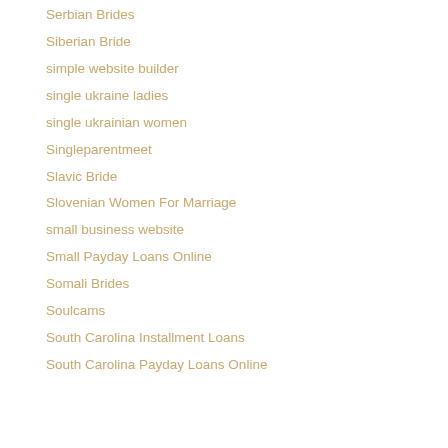Serbian Brides
Siberian Bride
simple website builder
single ukraine ladies
single ukrainian women
Singleparentmeet
Slavic Bride
Slovenian Women For Marriage
small business website
Small Payday Loans Online
Somali Brides
Soulcams
South Carolina Installment Loans
South Carolina Payday Loans Online